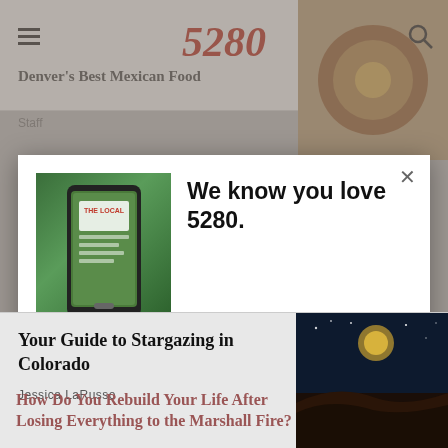5280
Denver's Best Mexican Food
Staff
We know you love 5280.
Join the thousands of Coloradans who start each day with The Local—our free, daily newsletter. Every day you'll receive our editors' picks of the top stories in mile-high food, culture, travel, and more!
SIGN ME UP!
Your Guide to Stargazing in Colorado
Jessica LaRusso